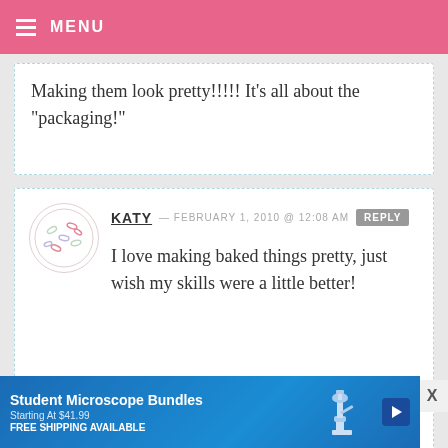MENU
Making them look pretty!!!!! It’s all about the “packaging!”
KATY — FEBRUARY 1, 2010 @ 12:08 AM REPLY
I love making baked things pretty, just wish my skills were a little better!
JENI — FEBRUARY 1, 2010 @ 12:07 AM REPLY
[Figure (infographic): Advertisement banner for Student Microscope Bundles, Starting At $41.99, FREE SHIPPING AVAILABLE, with microscope image]